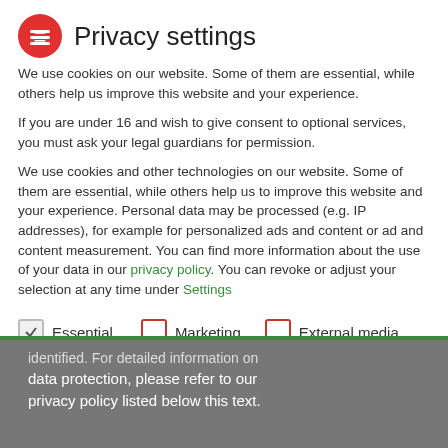Privacy settings
We use cookies on our website. Some of them are essential, while others help us improve this website and your experience.
If you are under 16 and wish to give consent to optional services, you must ask your legal guardians for permission.
We use cookies and other technologies on our website. Some of them are essential, while others help us to improve this website and your experience. Personal data may be processed (e.g. IP addresses), for example for personalized ads and content or ad and content measurement. You can find more information about the use of your data in our privacy policy. You can revoke or adjust your selection at any time under Settings.
Essential
Marketing
External media
identified. For detailed information on data protection, please refer to our privacy policy listed below this text.